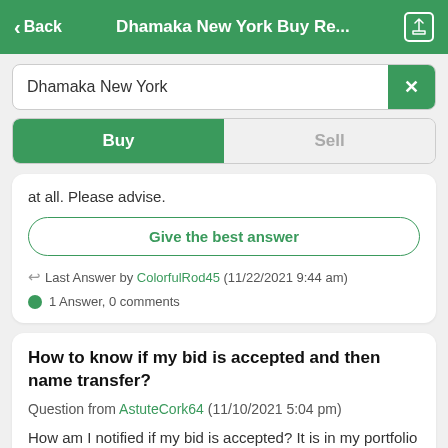< Back   Dhamaka New York Buy Re...   [share icon]
Dhamaka New York  [x]
Buy   Sell
at all. Please advise.
Give the best answer
Last Answer by ColorfulRod45 (11/22/2021 9:44 am)
1 Answer, 0 comments
How to know if my bid is accepted and then name transfer?
Question from AstuteCork64 (11/10/2021 5:04 pm)
How am I notified if my bid is accepted? It is in my portfolio but isn't saying it's accepted or not? And then